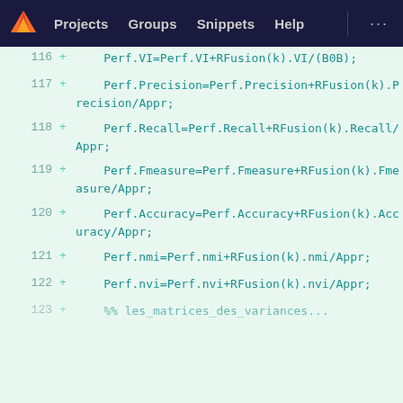GitLab — Projects  Groups  Snippets  Help  ...
116  +  Perf.VI=Perf.VI+RFusion(k).VI/(B0B);
117  +  Perf.Precision=Perf.Precision+RFusion(k).Precision/Appr;
118  +  Perf.Recall=Perf.Recall+RFusion(k).Recall/Appr;
119  +  Perf.Fmeasure=Perf.Fmeasure+RFusion(k).Fmeasure/Appr;
120  +  Perf.Accuracy=Perf.Accuracy+RFusion(k).Accuracy/Appr;
121  +  Perf.nmi=Perf.nmi+RFusion(k).nmi/Appr;
122  +  Perf.nvi=Perf.nvi+RFusion(k).nvi/Appr;
123  +  %% les_matrices_des_variances...